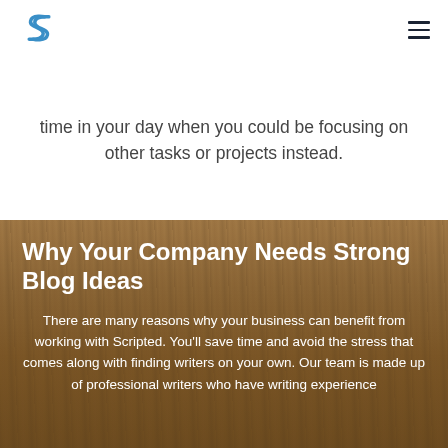[Scripted logo] [hamburger menu]
time in your day when you could be focusing on other tasks or projects instead.
Why Your Company Needs Strong Blog Ideas
There are many reasons why your business can benefit from working with Scripted. You'll save time and avoid the stress that comes along with finding writers on your own. Our team is made up of professional writers who have writing experience across 40+ industries so you can always find…